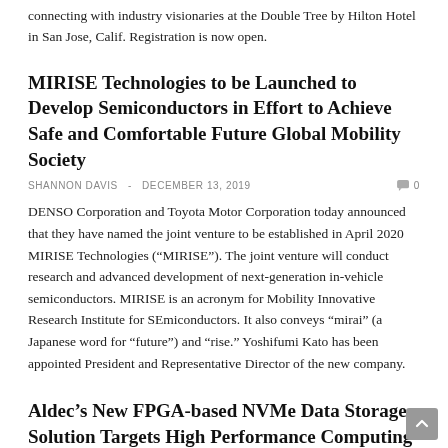connecting with industry visionaries at the Double Tree by Hilton Hotel in San Jose, Calif. Registration is now open.
MIRISE Technologies to be Launched to Develop Semiconductors in Effort to Achieve Safe and Comfortable Future Global Mobility Society
SHANNON DAVIS  -  DECEMBER 13, 2019    0
DENSO Corporation and Toyota Motor Corporation today announced that they have named the joint venture to be established in April 2020 MIRISE Technologies (“MIRISE”). The joint venture will conduct research and advanced development of next-generation in-vehicle semiconductors. MIRISE is an acronym for Mobility Innovative Research Institute for SEmiconductors. It also conveys “mirai” (a Japanese word for “future”) and “rise.” Yoshifumi Kato has been appointed President and Representative Director of the new company.
Aldec’s New FPGA-based NVMe Data Storage Solution Targets High Performance Computing Applications